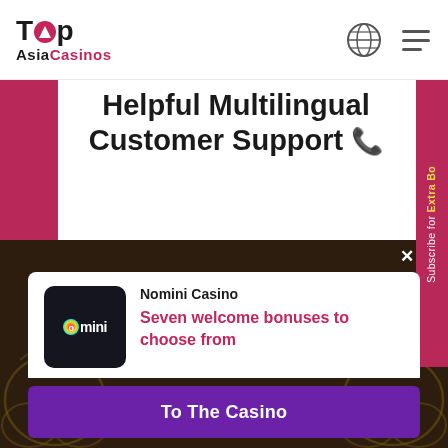Top Asia Casinos
Helpful Multilingual Customer Support 📞
Responsive and experienced customer support is the vine of every online casino. Nomini provides players with the option to engage with the customer support team via live chat or e-mail. Live chat is available 24/7...
[Figure (screenshot): Nomini Casino popup notification showing casino logo, promotional text 'Seven welcome bonuses to choose from' and a 'To The Casino' button]
Nomini Casino
Seven welcome bonuses to choose from
To The Casino